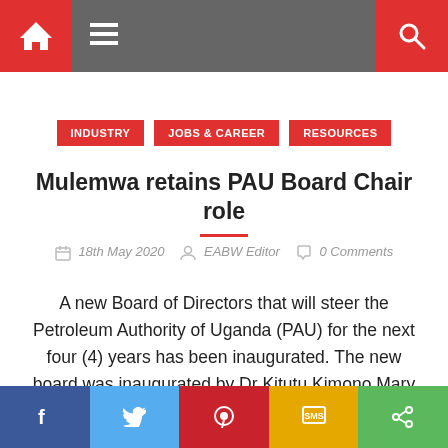Navigation bar with home, menu, and search icons
INDUSTRY   JOBS & CAREER   RESOURCES
Mulemwa retains PAU Board Chair role
18th May 2020   EABW Editor   0 Comments
A new Board of Directors that will steer the Petroleum Authority of Uganda (PAU) for the next four (4) years has been inaugurated. The new board was inaugurated by Dr Kitutu Kimono Mary Goretti, the Minister of Energy and Mineral Development. This is the second Board of Directors fo...
Social sharing bar: Facebook, Twitter, Pinterest, SMS, Share